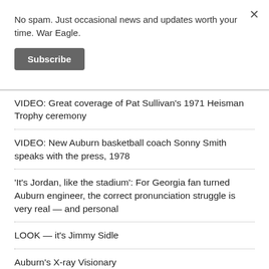No spam. Just occasional news and updates worth your time. War Eagle.
Subscribe
VIDEO: Great coverage of Pat Sullivan's 1971 Heisman Trophy ceremony
VIDEO: New Auburn basketball coach Sonny Smith speaks with the press, 1978
'It's Jordan, like the stadium': For Georgia fan turned Auburn engineer, the correct pronunciation struggle is very real — and personal
LOOK — it's Jimmy Sidle
Auburn's X-ray Visionary